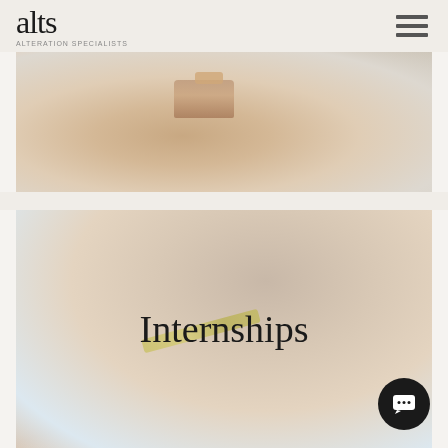alts
[Figure (photo): Close-up photo of a person's arm wearing a knitted sleeve with a beige/tan strap or bracelet, light neutral background]
[Figure (photo): Close-up photo of hands measuring a mannequin or garment with a measuring tape, light blue-beige background with tailor/alteration theme]
Internships